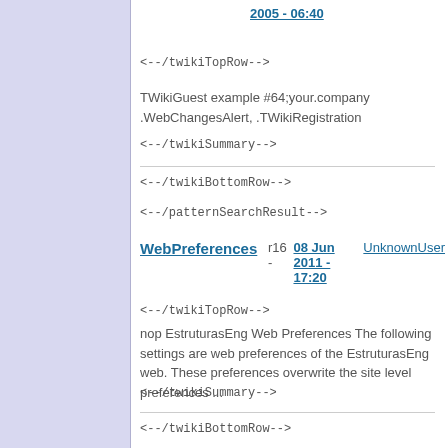2005 - 06:40
<--/twikiTopRow-->
TWikiGuest example #64;your.company .WebChangesAlert, .TWikiRegistration
<--/twikiSummary-->
<--/twikiBottomRow-->
<--/patternSearchResult-->
WebPreferences r16 - 08 Jun 2011 - 17:20 UnknownUser
<--/twikiTopRow-->
nop EstruturasEng Web Preferences The following settings are web preferences of the EstruturasEng web. These preferences overwrite the site level preferences ...
<--/twikiSummary-->
<--/twikiBottomRow-->
<--/patternSearchResult-->